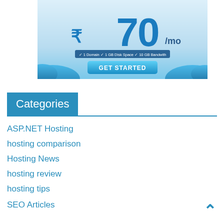[Figure (infographic): Web hosting advertisement banner showing Indian Rupee symbol with price 70/mo, features: 1 Domain, 1 GB Disk Space, 10 GB Bandwith, and a GET STARTED button, with blue cloud decoration]
Categories
ASP.NET Hosting
hosting comparison
Hosting News
hosting review
hosting tips
SEO Articles